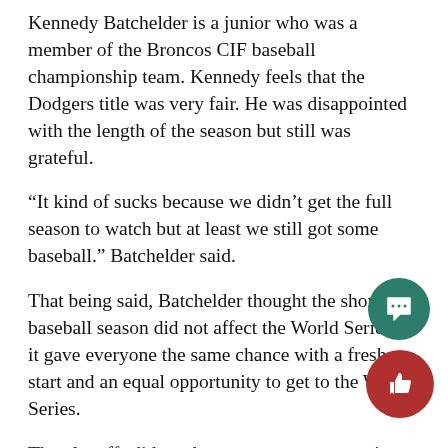Kennedy Batchelder is a junior who was a member of the Broncos CIF baseball championship team. Kennedy feels that the Dodgers title was very fair. He was disappointed with the length of the season but still was grateful.
“It kind of sucks because we didn’t get the full season to watch but at least we still got some baseball.” Batchelder said.
That being said, Batchelder thought the shortened baseball season did not affect the World Series as it gave everyone the same chance with a fresh start and an equal opportunity to get to the World Series.
The playoffs did produce some great memories for the Dodger fan, including his favorite moment of the season
“When Mookie Betts robbed the home run in game seven against the Braves for the NLCS.” Batchelder Said.